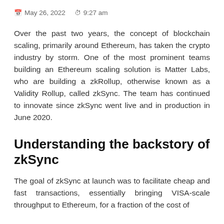May 26, 2022  9:27 am
Over the past two years, the concept of blockchain scaling, primarily around Ethereum, has taken the crypto industry by storm. One of the most prominent teams building an Ethereum scaling solution is Matter Labs, who are building a zkRollup, otherwise known as a Validity Rollup, called zkSync. The team has continued to innovate since zkSync went live and in production in June 2020.
Understanding the backstory of zkSync
The goal of zkSync at launch was to facilitate cheap and fast transactions, essentially bringing VISA-scale throughput to Ethereum, for a fraction of the cost of